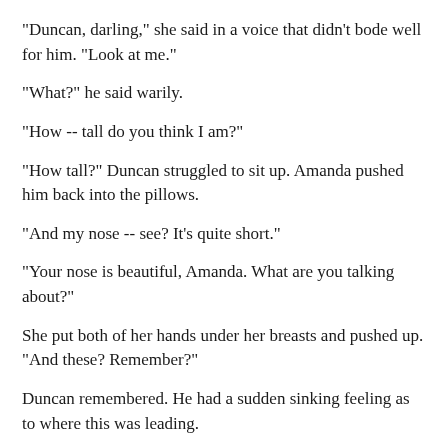"Duncan, darling," she said in a voice that didn't bode well for him. "Look at me."
"What?" he said warily.
"How -- tall do you think I am?"
"How tall?" Duncan struggled to sit up. Amanda pushed him back into the pillows.
"And my nose -- see? It's quite short."
"Your nose is beautiful, Amanda. What are you talking about?"
She put both of her hands under her breasts and pushed up. "And these? Remember?"
Duncan remembered. He had a sudden sinking feeling as to where this was leading.
Amanda pulled one of his hands to her crotch. "This ring a bell?"
"Amanda. I'm sorry. I --"
"And my name? Begins with 'A'? Ends with 'A'?"